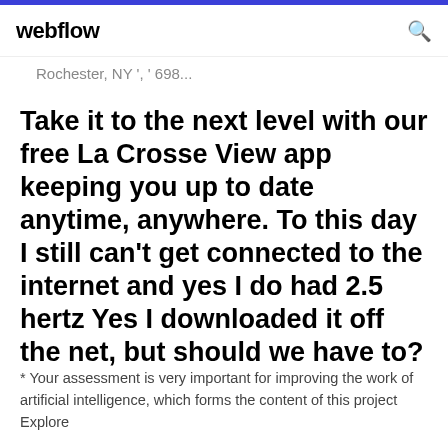webflow
Rochester, NY ', ' 698...
Take it to the next level with our free La Crosse View app keeping you up to date anytime, anywhere. To this day I still can't get connected to the internet and yes I do had 2.5 hertz Yes I downloaded it off the net, but should we have to?
* Your assessment is very important for improving the work of artificial intelligence, which forms the content of this project Explore